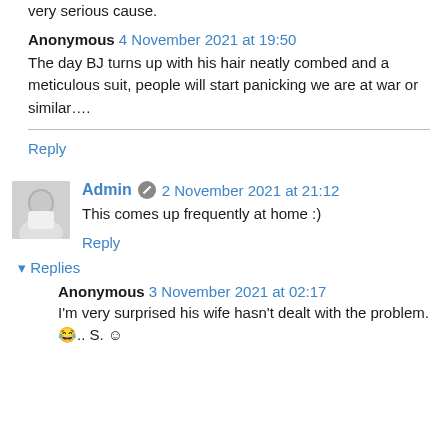very serious cause.
Anonymous 4 November 2021 at 19:50
The day BJ turns up with his hair neatly combed and a meticulous suit, people will start panicking we are at war or similar….
Reply
Admin 2 November 2021 at 21:12
This comes up frequently at home :)
Reply
▾ Replies
Anonymous 3 November 2021 at 02:17
I'm very surprised his wife hasn't dealt with the problem.😄.. S. ☺